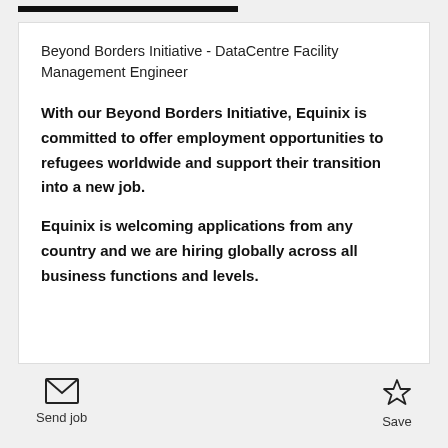Beyond Borders Initiative - DataCentre Facility Management Engineer
With our Beyond Borders Initiative, Equinix is committed to offer employment opportunities to refugees worldwide and support their transition into a new job.
Equinix is welcoming applications from any country and we are hiring globally across all business functions and levels.
Send job   Save